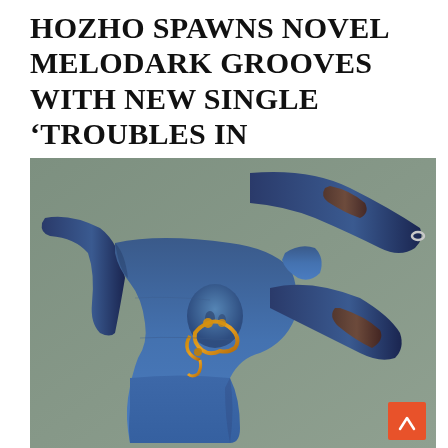HOZHO SPAWNS NOVEL MELODARK GROOVES WITH NEW SINGLE ‘TROUBLES IN PARADISE’
[Figure (illustration): Artwork showing a stylized blue humanoid figure in a crouched/contorted pose against a muted sage green background. The figure has dark blue tones with ornate golden chain/jewelry details around the torso area. The composition is abstract and painterly, reminiscent of a single cover artwork.]